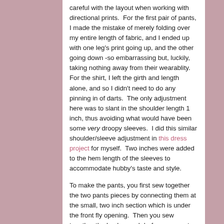careful with the layout when working with directional prints.  For the first pair of pants, I made the mistake of merely folding over my entire length of fabric, and I ended up with one leg's print going up, and the other going down -so embarrassing but, luckily, taking nothing away from their wearablity.  For the shirt, I left the girth and length alone, and so I didn't need to do any pinning in of darts.  The only adjustment here was to slant in the shoulder length 1 inch, thus avoiding what would have been some very droopy sleeves.  I did this similar shoulder/sleeve adjustment in this dress project for myself.  Two inches were added to the hem length of the sleeves to accommodate hubby's taste and style.
To make the pants, you first sew together the two pants pieces by connecting them at the small, two inch section which is under the front fly opening.  Then you sew together the back crouch before you next join the inner leg seam.  Voila!  This entire step takes me a whole of only 10 or 15 minutes.  Now, the rectangular fly facing piece gets sewn onto the right side of the pant's fly extension, while